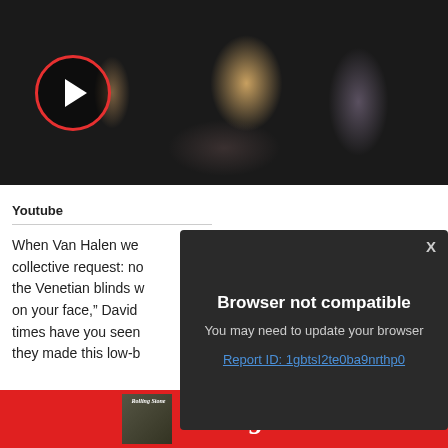[Figure (screenshot): Video thumbnail showing a rock band concert performance with a play button overlay (red circle with white triangle). Band members visible on stage.]
Youtube
When Van Halen we collective request: no the Venetian blinds w on your face," David times have you seen they made this low-b
[Figure (screenshot): Browser error modal with dark background. Title: 'Browser not compatible'. Subtitle: 'You may need to update your browser'. Link: 'Report ID: 1gbtsI2te0ba9nrthp0'. Close button X in top right.]
[Figure (screenshot): Rolling Stone magazine advertisement banner with red background showing RollingStone logo text and magazine cover image.]